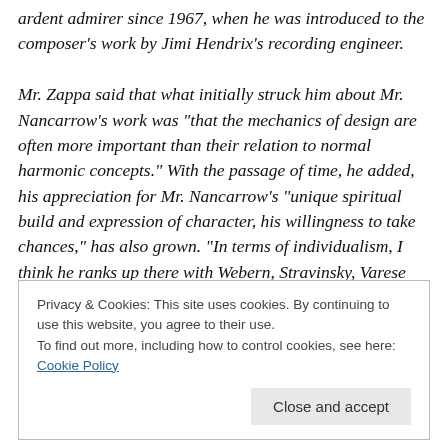ardent admirer since 1967, when he was introduced to the composer's work by Jimi Hendrix's recording engineer.

Mr. Zappa said that what initially struck him about Mr. Nancarrow's work was "that the mechanics of design are often more important than their relation to normal harmonic concepts." With the passage of time, he added, his appreciation for Mr. Nancarrow's "unique spiritual build and expression of character, his willingness to take chances," has also grown. "In terms of individualism, I think he ranks up there with Webern, Stravinsky, Varese
Privacy & Cookies: This site uses cookies. By continuing to use this website, you agree to their use.
To find out more, including how to control cookies, see here: Cookie Policy

Close and accept